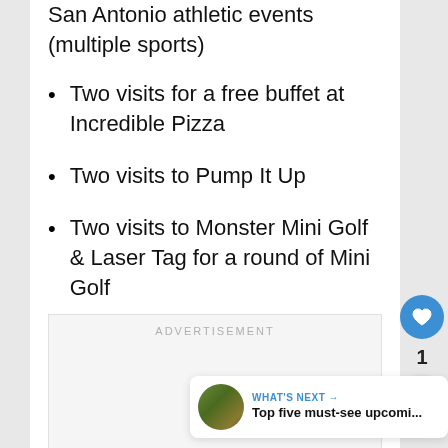San Antonio athletic events (multiple sports)
Two visits for a free buffet at Incredible Pizza
Two visits to Pump It Up
Two visits to Monster Mini Golf & Laser Tag for a round of Mini Golf
ADVERTISEMENT